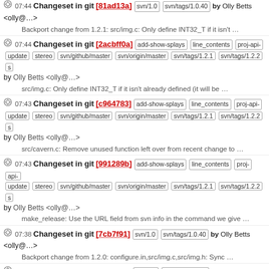07:44 Changeset in git [2acbff0a] add-show-splays line_contents proj-api-update stereo svn/github/master svn/origin/master svn/tags/1.2.1 svn/tags/1.2.2 s by Olly Betts <olly@…> src/img.c: Only define INT32_T if it isn't already defined (it will be …
07:43 Changeset in git [c964783] add-show-splays line_contents proj-api-update stereo svn/github/master svn/origin/master svn/tags/1.2.1 svn/tags/1.2.2 s by Olly Betts <olly@…> src/cavern.c: Remove unused function left over from recent change to …
07:43 Changeset in git [991289b] add-show-splays line_contents proj-api-update stereo svn/github/master svn/origin/master svn/tags/1.2.1 svn/tags/1.2.2 s by Olly Betts <olly@…> make_release: Use the URL field from svn info in the command we give …
07:38 Changeset in git [7cb7f91] svn/1.0 svn/tags/1.0.40 by Olly Betts <olly@…> Backport change from 1.2.0: configure.in,src/img.c,src/img.h: Sync …
07:29 Changeset in git [b8bf5bc] svn/1.0 svn/tags/1.0.40 by Olly Betts <olly@…> Backport change from 1.2.0: Makefile.am,doc/Makefile.am: Don't list …
07:26 Changeset in git [8401f84] svn/1.0 svn/tags/1.0.40 by Olly Betts <olly@…>